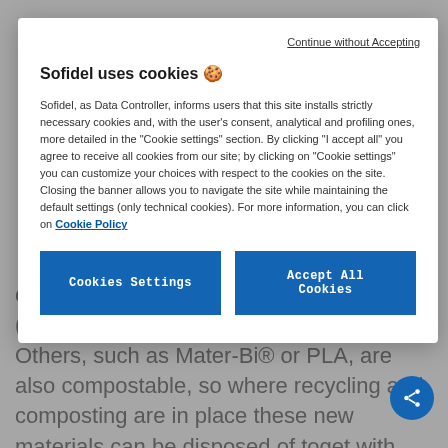correctly disposed of with other plastics (plastic or multi-material collection). Others, such as Mater-Bi® or PLA, are also compostable, so where recycling and composting are in place these new materials can be disposed of together with wet waste.
Continue without Accepting
Sofidel uses cookies 🍪
Sofidel, as Data Controller, informs users that this site installs strictly necessary cookies and, with the user's consent, analytical and profiling ones, more detailed in the "Cookie settings" section. By clicking "I accept all" you agree to receive all cookies from our site; by clicking on "Cookie settings" you can customize your choices with respect to the cookies on the site. Closing the banner allows you to navigate the site while maintaining the default settings (only technical cookies). For more information, you can click on Cookie Policy
Cookies Settings
Accept All Cookies